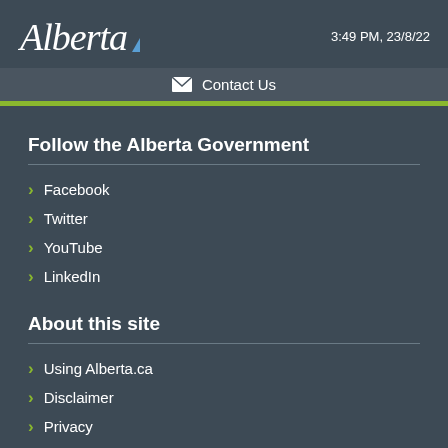3:49 PM, 23/8/22
Contact Us
Follow the Alberta Government
Facebook
Twitter
YouTube
LinkedIn
About this site
Using Alberta.ca
Disclaimer
Privacy